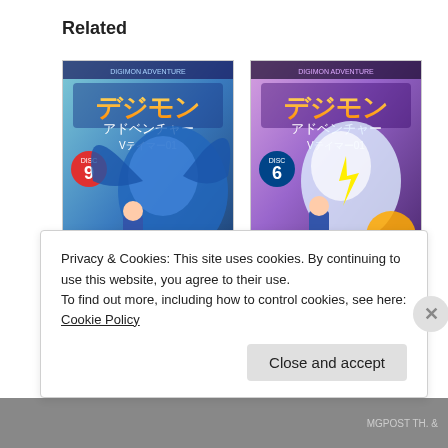Related
[Figure (illustration): Digimon Adventure V-Tamer 01 manga volume 9 cover showing anime characters and Digimon creatures in blue tones]
[Figure (illustration): Digimon Adventure V-Tamer 01 manga volume 6 cover showing anime characters and Digimon creatures in purple and white tones]
Digimon Adventure V-
Digimon Adventure V-
Privacy & Cookies: This site uses cookies. By continuing to use this website, you agree to their use.
To find out more, including how to control cookies, see here: Cookie Policy
Close and accept